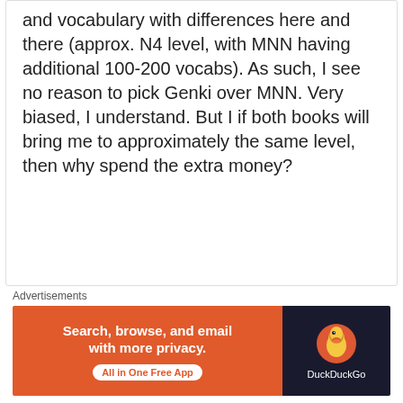and vocabulary with differences here and there (approx. N4 level, with MNN having additional 100-200 vocabs). As such, I see no reason to pick Genki over MNN. Very biased, I understand. But I if both books will bring me to approximately the same level, then why spend the extra money?
Loading...
Reply
Bryan Kuro
Advertisements
[Figure (other): DuckDuckGo advertisement banner: orange left panel with text 'Search, browse, and email with more privacy. All in One Free App' and dark right panel with DuckDuckGo logo and name.]